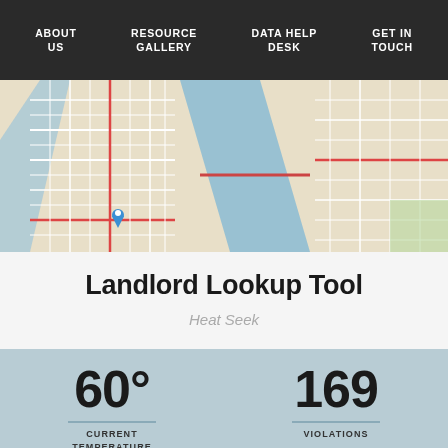ABOUT US | RESOURCE GALLERY | DATA HELP DESK | GET IN TOUCH
[Figure (map): Street map of Manhattan and surrounding area showing city grid, waterways (East River/Hudson River), and a blue location pin marker in lower Manhattan]
Landlord Lookup Tool
Heat Seek
[Figure (infographic): Stats panel showing 60° CURRENT TEMPERATURE and 169 VIOLATIONS on a light blue-grey background]
[Figure (line-chart): Partial line chart visible at bottom of page on blue-grey background]